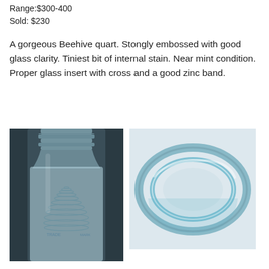Range:$300-400
Sold: $230
A gorgeous Beehive quart. Stongly embossed with good glass clarity. Tiniest bit of internal stain. Near mint condition. Proper glass insert with cross and a good zinc band.
[Figure (photo): Close-up photo of a clear blue-tinted Beehive quart glass jar showing the embossed beehive design on the body and ribbed screw top neck]
[Figure (photo): Top-down angled view of a clear blue-tinted glass jar mouth showing the glass insert ring and rim detail]